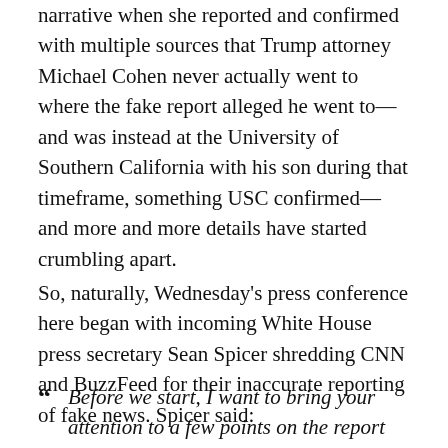narrative when she reported and confirmed with multiple sources that Trump attorney Michael Cohen never actually went to where the fake report alleged he went to—and was instead at the University of Southern California with his son during that timeframe, something USC confirmed—and more and more details have started crumbling apart.
So, naturally, Wednesday's press conference here began with incoming White House press secretary Sean Spicer shredding CNN and BuzzFeed for their inaccurate reporting of fake news. Spicer said:
“ Before we start, I want to bring your attention to a few points on the report that